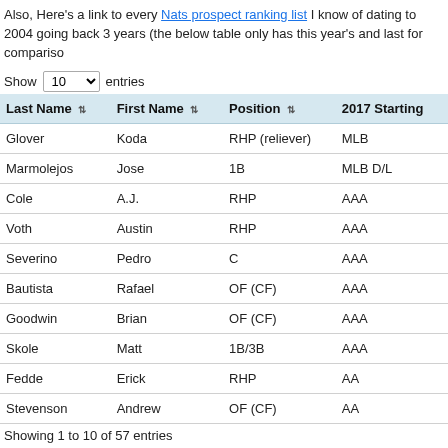Also, Here's a link to every Nats prospect ranking list I know of dating to 2004 going back 3 years (the below table only has this year's and last for compariso
Show 10 entries
| Last Name | First Name | Position | 2017 Starting |
| --- | --- | --- | --- |
| Glover | Koda | RHP (reliever) | MLB |
| Marmolejos | Jose | 1B | MLB D/L |
| Cole | A.J. | RHP | AAA |
| Voth | Austin | RHP | AAA |
| Severino | Pedro | C | AAA |
| Bautista | Rafael | OF (CF) | AAA |
| Goodwin | Brian | OF (CF) | AAA |
| Skole | Matt | 1B/3B | AAA |
| Fedde | Erick | RHP | AA |
| Stevenson | Andrew | OF (CF) | AA |
Showing 1 to 10 of 57 entries